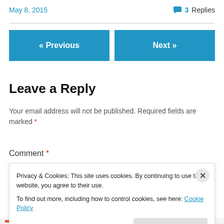May 8, 2015    💬 3 Replies
« Previous   Next »
Leave a Reply
Your email address will not be published. Required fields are marked *
Comment *
Privacy & Cookies: This site uses cookies. By continuing to use this website, you agree to their use.
To find out more, including how to control cookies, see here: Cookie Policy
[Close and accept]